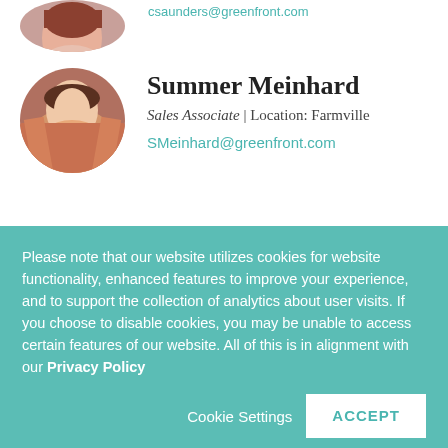csaunders@greenfront.com
Summer Meinhard
Sales Associate | Location: Farmville
SMeinhard@greenfront.com
Debbie Luna
Please note that our website utilizes cookies for website functionality, enhanced features to improve your experience, and to support the collection of analytics about user visits. If you choose to disable cookies, you may be unable to access certain features of our website. All of this is in alignment with our Privacy Policy
Cookie Settings
ACCEPT